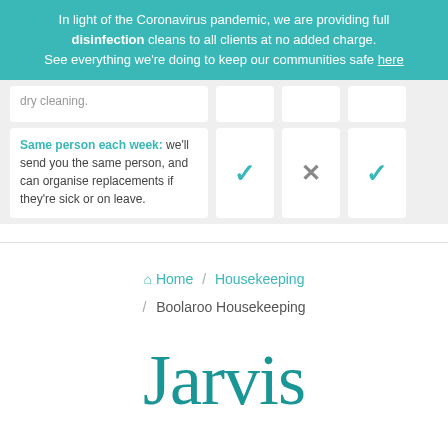In light of the Coronavirus pandemic, we are providing full disinfection cleans to all clients at no added charge. See everything we're doing to keep our communities safe here
dry cleaning.
Same person each week: we'll send you the same person, and can organise replacements if they're sick or on leave.
Home / Housekeeping / Boolaroo Housekeeping
Jarvis